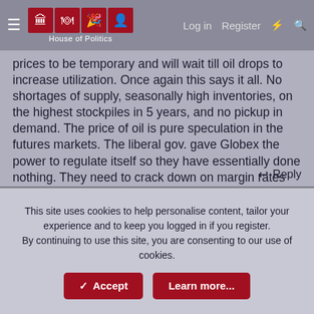House of Politics — Log in  Register
prices to be temporary and will wait till oil drops to increase utilization. Once again this says it all. No shortages of supply, seasonally high inventories, on the highest stockpiles in 5 years, and no pickup in demand. The price of oil is pure speculation in the futures markets. The liberal gov. gave Globex the power to regulate itself so they have essentially done nothing. They need to crack down on margin rates for speculators. Until they do this the market will be driven by speculators free to create recession waves. It is very dangerous to allow speculators to control necessary commodities.
doug
Reply
This site uses cookies to help personalise content, tailor your experience and to keep you logged in if you register.
By continuing to use this site, you are consenting to our use of cookies.